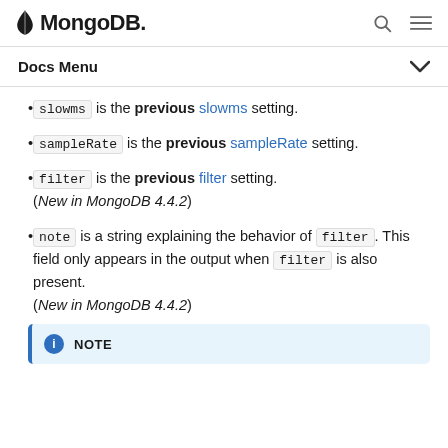MongoDB
Docs Menu
slowms is the previous slowms setting.
sampleRate is the previous sampleRate setting.
filter is the previous filter setting. (New in MongoDB 4.4.2)
note is a string explaining the behavior of filter. This field only appears in the output when filter is also present. (New in MongoDB 4.4.2)
NOTE